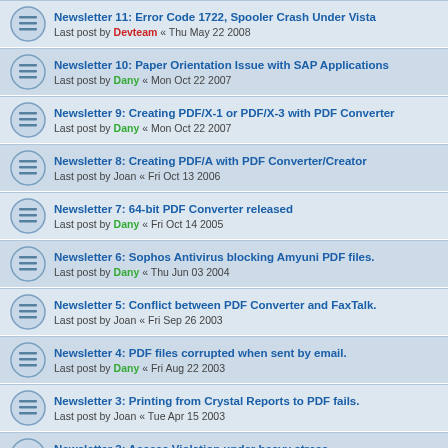Newsletter 11: Error Code 1722, Spooler Crash Under Vista — Last post by Devteam « Thu May 22 2008
Newsletter 10: Paper Orientation Issue with SAP Applications — Last post by Dany « Mon Oct 22 2007
Newsletter 9: Creating PDF/X-1 or PDF/X-3 with PDF Converter — Last post by Dany « Mon Oct 22 2007
Newsletter 8: Creating PDF/A with PDF Converter/Creator — Last post by Joan « Fri Oct 13 2006
Newsletter 7: 64-bit PDF Converter released — Last post by Dany « Fri Oct 14 2005
Newsletter 6: Sophos Antivirus blocking Amyuni PDF files. — Last post by Dany « Thu Jun 03 2004
Newsletter 5: Conflict between PDF Converter and FaxTalk. — Last post by Joan « Fri Sep 26 2003
Newsletter 4: PDF files corrupted when sent by email. — Last post by Dany « Fri Aug 22 2003
Newsletter 3: Printing from Crystal Reports to PDF fails. — Last post by Joan « Tue Apr 15 2003
Newsletter 2: Access Violation under heavy stress. — Last post by Joan « Tue Apr 08 2003
Newsletter 1: Error Code 126 under XP.